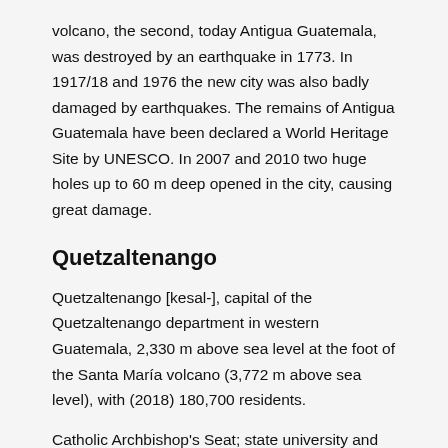volcano, the second, today Antigua Guatemala, was destroyed by an earthquake in 1773. In 1917/18 and 1976 the new city was also badly damaged by earthquakes. The remains of Antigua Guatemala have been declared a World Heritage Site by UNESCO. In 2007 and 2010 two huge holes up to 60 m deep opened in the city, causing great damage.
Quetzaltenango
Quetzaltenango [kesal-], capital of the Quetzaltenango department in western Guatemala, 2,330 m above sea level at the foot of the Santa María volcano (3,772 m above sea level), with (2018) 180,700 residents.
Catholic Archbishop's Seat; state university and other colleges; Commercial and administrative center, textile